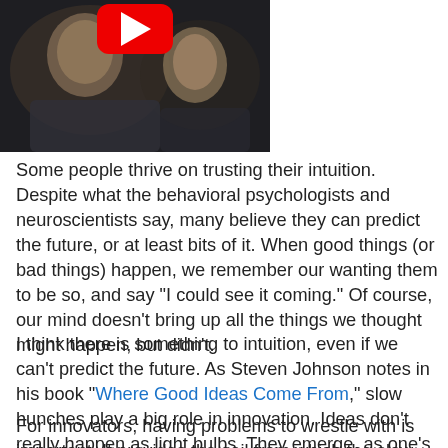[Figure (screenshot): Video thumbnail showing two people in a dark scene, with a red YouTube play button overlay at the top]
Some people thrive on trusting their intuition. Despite what the behavioral psychologists and neuroscientists say, many believe they can predict the future, or at least bits of it. When good things (or bad things) happen, we remember our wanting them to be so, and say "I could see it coming." Of course, our mind doesn't bring up all the things we thought might happen, but didn't.
I think there is something to intuition, even if we can't predict the future. As Steven Johnson notes in his book "Where Good Ideas Come From," slow hunches play a big role in innovation. Ideas don't really happen as light bulbs. They emerge, as one's mind reassembles puzzle pieces and learns new things.
For innovators, having problems to wrestle with is important. It provides the soil from which the slow hunches can grow.